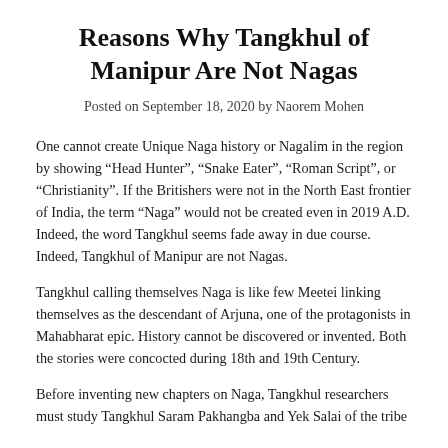Reasons Why Tangkhul of Manipur Are Not Nagas
Posted on September 18, 2020 by Naorem Mohen
One cannot create Unique Naga history or Nagalim in the region by showing “Head Hunter”, “Snake Eater”, “Roman Script”, or “Christianity”. If the Britishers were not in the North East frontier of India, the term “Naga” would not be created even in 2019 A.D. Indeed, the word Tangkhul seems fade away in due course. Indeed, Tangkhul of Manipur are not Nagas.
Tangkhul calling themselves Naga is like few Meetei linking themselves as the descendant of Arjuna, one of the protagonists in Mahabharat epic. History cannot be discovered or invented. Both the stories were concocted during 18th and 19th Century.
Before inventing new chapters on Naga, Tangkhul researchers must study Tangkhul Saram Pakhangba and Yek Salai of the tribe